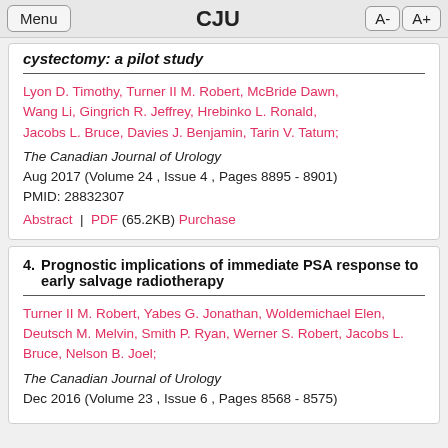Menu  CJU  A-  A+
cystectomy: a pilot study
Lyon D. Timothy, Turner II M. Robert, McBride Dawn, Wang Li, Gingrich R. Jeffrey, Hrebinko L. Ronald, Jacobs L. Bruce, Davies J. Benjamin, Tarin V. Tatum;
The Canadian Journal of Urology
Aug 2017 (Volume 24 , Issue 4 , Pages 8895 - 8901)
PMID: 28832307
Abstract  |  PDF (65.2KB)  Purchase
4. Prognostic implications of immediate PSA response to early salvage radiotherapy
Turner II M. Robert, Yabes G. Jonathan, Woldemichael Elen, Deutsch M. Melvin, Smith P. Ryan, Werner S. Robert, Jacobs L. Bruce, Nelson B. Joel;
The Canadian Journal of Urology
Dec 2016 (Volume 23 , Issue 6 , Pages 8568 - 8575)